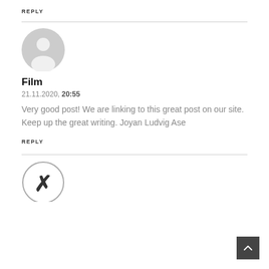REPLY
[Figure (illustration): Gray default user avatar circle with silhouette icon]
Film
21.11.2020, 20:55
Very good post! We are linking to this great post on our site. Keep up the great writing. Joyan Ludvig Ase
REPLY
[Figure (illustration): Circular avatar with letter X or person icon inside]